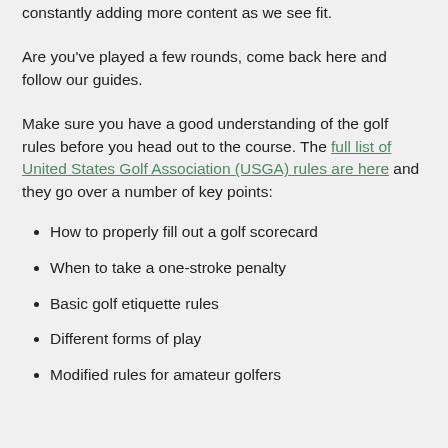constantly adding more content as we see fit.
Are you've played a few rounds, come back here and follow our guides.
Make sure you have a good understanding of the golf rules before you head out to the course. The full list of United States Golf Association (USGA) rules are here and they go over a number of key points:
How to properly fill out a golf scorecard
When to take a one-stroke penalty
Basic golf etiquette rules
Different forms of play
Modified rules for amateur golfers